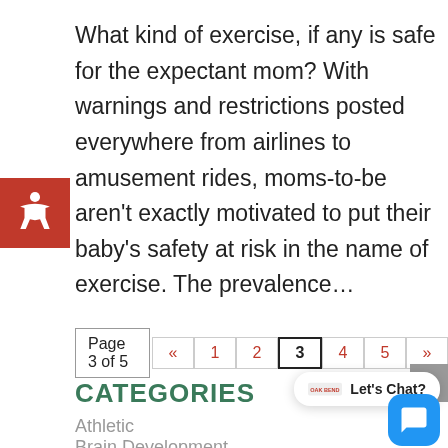What kind of exercise, if any is safe for the expectant mom? With warnings and restrictions posted everywhere from airlines to amusement rides, moms-to-be aren't exactly motivated to put their baby's safety at risk in the name of exercise. The prevalence...
Page 3 of 5  «  1  2  3  4  5  »
CATEGORIES
Athletic
Brain Development
Children Health
Chiropractic Health